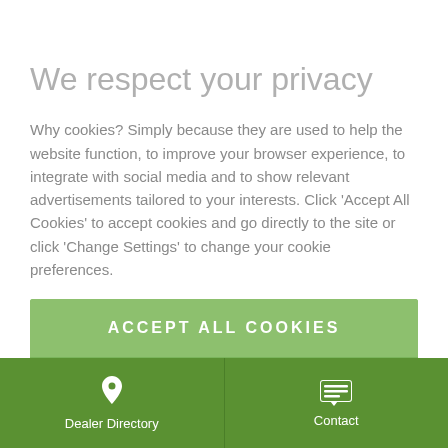We respect your privacy
Why cookies? Simply because they are used to help the website function, to improve your browser experience, to integrate with social media and to show relevant advertisements tailored to your interests. Click 'Accept All Cookies' to accept cookies and go directly to the site or click 'Change Settings' to change your cookie preferences.
ACCEPT ALL COOKIES
CHANGE SETTINGS
Cookie Policy | Privacy Policy | Cookie Statement
Dealer Directory | Contact